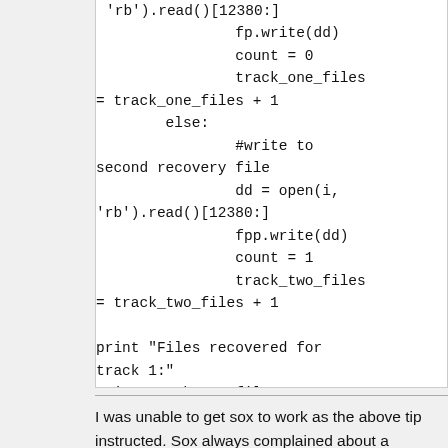[Figure (other): Code block showing Python script for recovery file writing, counting, and closing sound files]
I was unable to get sox to work as the above tip instructed. Sox always complained about a missing operation or misinterpreted the filename of one of the Audacity temp files as a